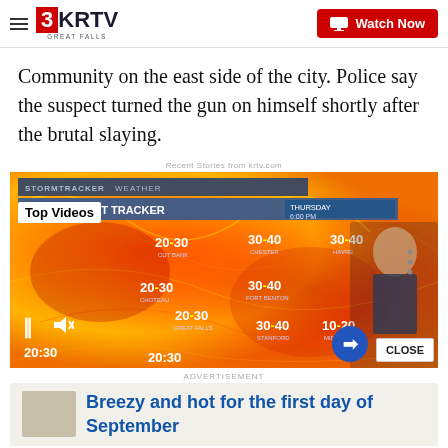3KRTV GREAT FALLS | Watch Now
Community on the east side of the city. Police say the suspect turned the gun on himself shortly after the brutal slaying.
Recent Stories from krtv.com
[Figure (screenshot): Weather broadcast screenshot showing Wind Gust Tracker with a colorful wind map of Montana. Wind speeds shown: CUT BANK 20-30, CHESTER 30-40, HAVRE 30-40, MALTA 20-30, 30- (GLAS), CHOTEAU 20-30, FORT BENTON 30-40, GREAT FALLS 20-30, STANFORD 30-40, MIDTOWN 10-20, bottom 20-30. Top Videos overlay in white box. Thursday 6:00 PM. Weather presenter standing to the right. Media controls with pause and mute icons. CLOSE button bottom right. Blue arrow button.]
ADVERTISEMENT
Breezy and hot for the first day of September